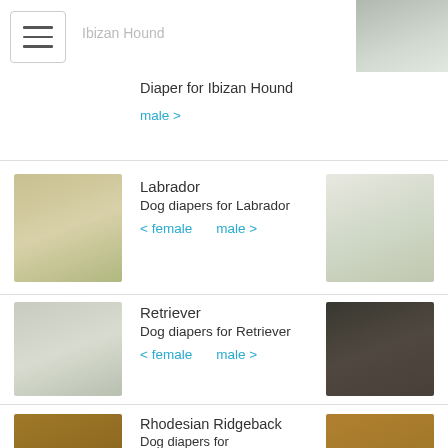Ibizan Hound
Diaper for Ibizan Hound
male >
[Figure (photo): Photo of Ibizan Hound dog (right side, partial)]
[Figure (photo): Photo of Labrador dog (left, yellow/tan dog standing on grass)]
Labrador
Dog diapers for Labrador
< female   male >
[Figure (photo): Photo of white Labrador dog standing on grass]
[Figure (photo): Photo of white/gray Retriever dog standing]
Retriever
Dog diapers for Retriever
< female   male >
[Figure (photo): Photo of black Retriever dog on grass]
[Figure (photo): Photo of Rhodesian Ridgeback dog standing on grass]
Rhodesian Ridgeback
Dog diapers for Rhodesian Ridgeback
< female   male >
[Figure (photo): Photo of Rhodesian Ridgeback dog standing profile]
Setter